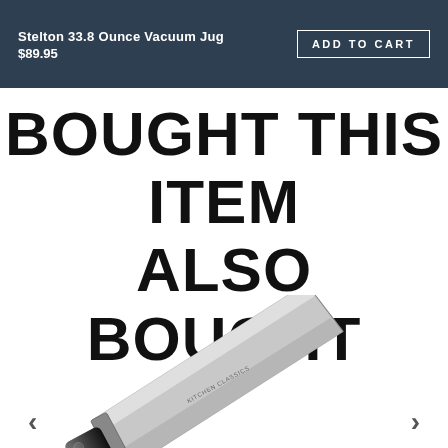Stelton 33.8 Ounce Vacuum Jug
$89.95
ADD TO CART
BOUGHT THIS ITEM ALSO BOUGHT
[Figure (photo): A nakiri-style kitchen knife with a rectangular stainless steel blade and black handle, positioned diagonally on a white background. Small text on the blade reads brand name.]